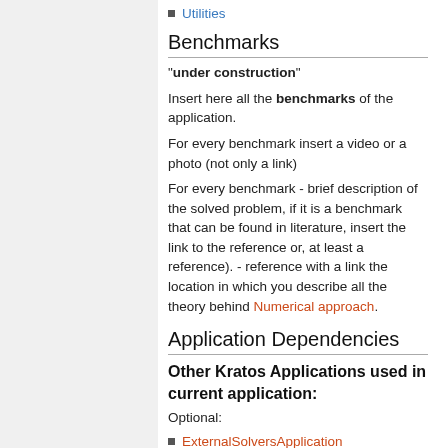Utilities
Benchmarks
"under construction"
Insert here all the benchmarks of the application.
For every benchmark insert a video or a photo (not only a link)
For every benchmark - brief description of the solved problem, if it is a benchmark that can be found in literature, insert the link to the reference or, at least a reference). - reference with a link the location in which you describe all the theory behind Numerical approach.
Application Dependencies
Other Kratos Applications used in current application:
Optional:
ExternalSolversApplication